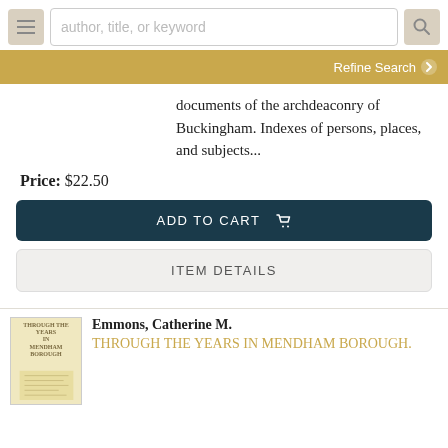author, title, or keyword | Refine Search
documents of the archdeaconry of Buckingham. Indexes of persons, places, and subjects...
Price: $22.50
ADD TO CART
ITEM DETAILS
Emmons, Catherine M.
THROUGH THE YEARS IN MENDHAM BOROUGH.